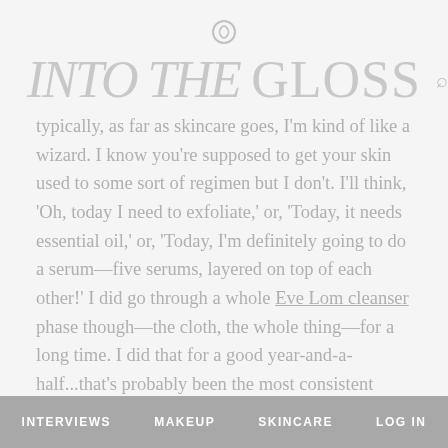INTO THE GLOSS
typically, as far as skincare goes, I'm kind of like a wizard. I know you're supposed to get your skin used to some sort of regimen but I don't. I'll think, 'Oh, today I need to exfoliate,' or, 'Today, it needs essential oil,' or, 'Today, I'm definitely going to do a serum—five serums, layered on top of each other!' I did go through a whole Eve Lom cleanser phase though—the cloth, the whole thing—for a long time. I did that for a good year-and-a-half...that's probably been the most consistent ritual I've had, since, like, Clinique's 3-Step Program in the 6th
INTERVIEWS  MAKEUP  SKINCARE  LOG IN